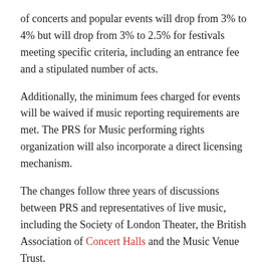of concerts and popular events will drop from 3% to 4% but will drop from 3% to 2.5% for festivals meeting specific criteria, including an entrance fee and a stipulated number of acts.
Additionally, the minimum fees charged for events will be waived if music reporting requirements are met. The PRS for Music performing rights organization will also incorporate a direct licensing mechanism.
The changes follow three years of discussions between PRS and representatives of live music, including the Society of London Theater, the British Association of Concert Halls and the Music Venue Trust.
Explaining the increase, PRS told AP it has an obligation to ensure that its licenses recognize the contribution of songwriters and publishers to the live music industry and are “simple, effective and appropriate. in use ”.